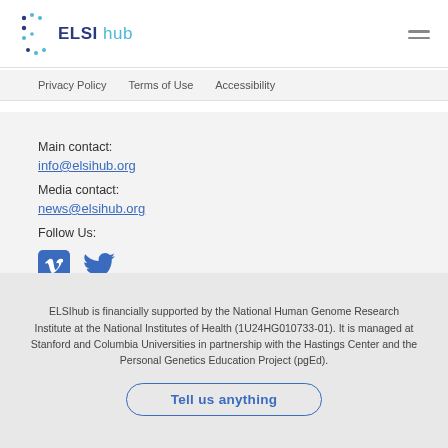[Figure (logo): ELSI hub logo with decorative dots in dark blue and teal]
Privacy Policy   Terms of Use   Accessibility
Main contact:
info@elsihub.org
Media contact:
news@elsihub.org
Follow Us:
[Figure (illustration): Vimeo and Twitter social media icons in blue]
ELSIhub is financially supported by the National Human Genome Research Institute at the National Institutes of Health (1U24HG010733-01). It is managed at Stanford and Columbia Universities in partnership with the Hastings Center and the Personal Genetics Education Project (pgEd).
Tell us anything